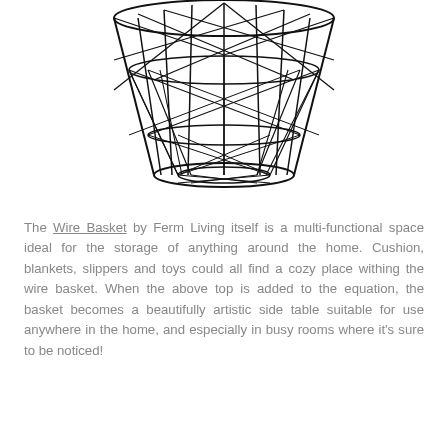[Figure (illustration): Black wire basket illustration — an open-top geometric wire basket with diagonal cross-wire pattern, wide at the top and narrowing toward the base, shown from a slightly angled front view.]
The Wire Basket by Ferm Living itself is a multi-functional space ideal for the storage of anything around the home. Cushion, blankets, slippers and toys could all find a cozy place withing the wire basket. When the above top is added to the equation, the basket becomes a beautifully artistic side table suitable for use anywhere in the home, and especially in busy rooms where it's sure to be noticed!